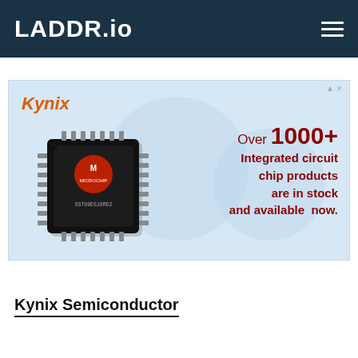LADDR.io
[Figure (advertisement): Kynix Semiconductor advertisement banner with a Microchip TQFP IC chip image on a light blue background. Text reads: Kynix logo (italic, orange), Over 1000+ Integrated circuit chip products are in stock and available now. (in dark red/maroon bold text)]
Kynix Semiconductor